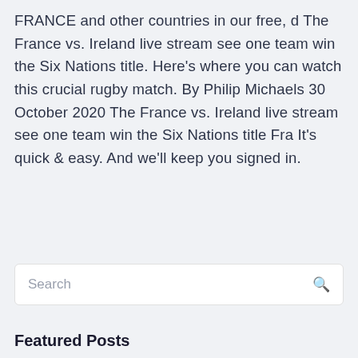FRANCE and other countries in our free, d The France vs. Ireland live stream see one team win the Six Nations title. Here's where you can watch this crucial rugby match. By Philip Michaels 30 October 2020 The France vs. Ireland live stream see one team win the Six Nations title Fra It's quick & easy. And we'll keep you signed in.
Search
Featured Posts